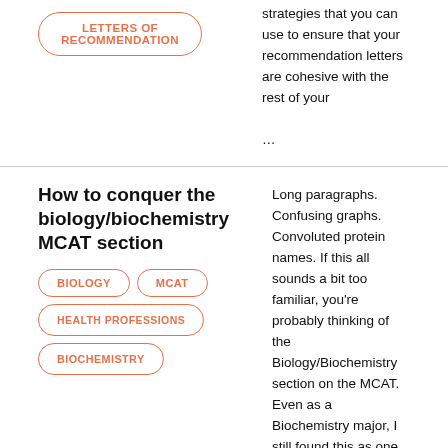[Figure (other): Tag pill button with text 'LETTERS OF RECOMMENDATION' in orange outlined rounded rectangle]
strategies that you can use to ensure that your recommendation letters are cohesive with the rest of your …
How to conquer the biology/biochemistry MCAT section
[Figure (other): Tag pill button with text 'BIOLOGY' in orange outlined rounded rectangle]
[Figure (other): Tag pill button with text 'MCAT' in orange outlined rounded rectangle]
[Figure (other): Tag pill button with text 'HEALTH PROFESSIONS' in orange outlined rounded rectangle]
[Figure (other): Tag pill button with text 'BIOCHEMISTRY' in orange outlined rounded rectangle]
Long paragraphs. Confusing graphs. Convoluted protein names. If this all sounds a bit too familiar, you're probably thinking of the Biology/Biochemistry section on the MCAT. Even as a Biochemistry major, I still found this as one